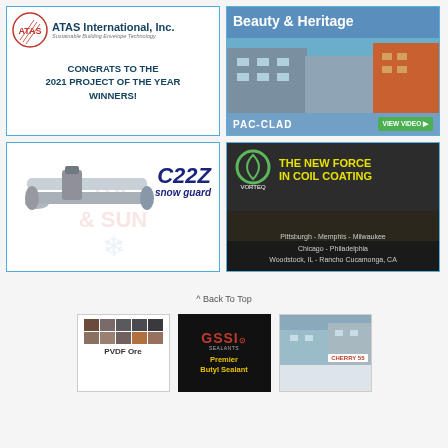[Figure (illustration): ATAS International Inc. advertisement with logo and text: CONGRATS TO THE 2021 PROJECT OF THE YEAR WINNERS!]
[Figure (illustration): PAC-CLAD advertisement showing apartment building with text Beauty & Heritage and VIEW VIDEO button]
[Figure (illustration): C22Z snow guard product advertisement showing metal tubes]
[Figure (illustration): VORTEQ coil coating advertisement with locations: Pittsburgh - Memphis - Milwaukee, Chicago - Philadelphia, Woodstock IL - Rancho Cucamonga CA]
^ Back To Top
[Figure (illustration): PVDF Ore color swatches advertisement]
[Figure (illustration): GSSI Sealants - Premier Butyl Sealant advertisement]
[Figure (illustration): Cherry 55 building products advertisement]